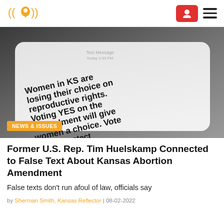[Figure (photo): Close-up photo of a phone screen displaying a text message reading: 'Women in KS are losing their choice on reproductive rights. Voting YES on the Amendment will give women a choice. Vote YES to protect women's health. Stop2End']
Former U.S. Rep. Tim Huelskamp Connected to False Text About Kansas Abortion Amendment
False texts don't run afoul of law, officials say
by Sherman Smith, Kansas Reflector | 08-02-2022